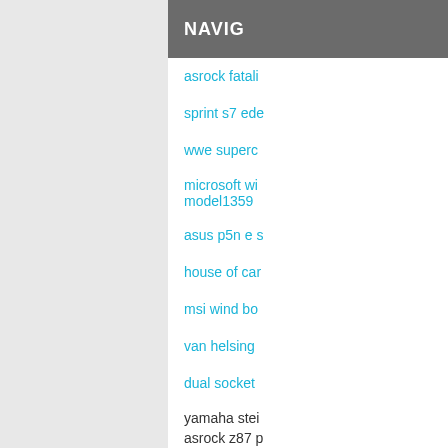NAVIG
asrock fatali
sprint s7 ede
wwe superce
microsoft wi
model1359
asus p5n e s
house of car
msi wind bo
van helsing
dual socket
yamaha stei
asrock z87 p
asus b85m g
logitech orb
yamaha rx-v
https://bit.b
https://bob